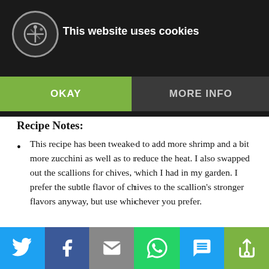stir in half of cilantro and half of chives or scallions. Saute for one more minute.
...bowl. Sprinkle remaining cilantro and chives.
8. Serve immediately.
Recipe Notes:
This recipe has been tweaked to add more shrimp and a bit more zucchini as well as to reduce the heat. I also swapped out the scallions for chives, which I had in my garden. I prefer the subtle flavor of chives to the scallion's stronger flavors anyway, but use whichever you prefer.
Social share bar: Twitter, Facebook, Email, WhatsApp, SMS, Share